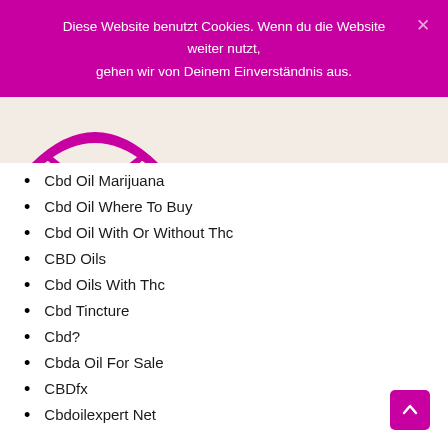Diese Website benutzt Cookies. Wenn du die Website weiter nutzt, gehen wir von Deinem Einverständnis aus.
[Figure (logo): Partial logo with magenta/pink circular emblem visible at top left of content area]
Cbd Oil Marijuana
Cbd Oil Where To Buy
Cbd Oil With Or Without Thc
CBD Oils
Cbd Oils With Thc
Cbd Tincture
Cbd?
Cbda Oil For Sale
CBDfx
Cbdoilexpert Net